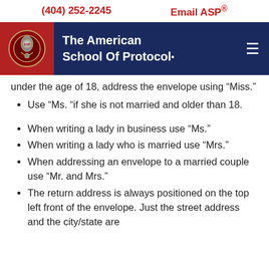(404) 252-2245   Email ASP®
[Figure (logo): The American School of Protocol logo with navigation header on dark navy background]
under the age of 18, address the envelope using “Miss.”
Use “Ms. “if she is not married and older than 18.
When writing a lady in business use “Ms.”
When writing a lady who is married use “Mrs.”
When addressing an envelope to a married couple use “Mr. and Mrs.”
The return address is always positioned on the top left front of the envelope. Just the street address and the city/state are